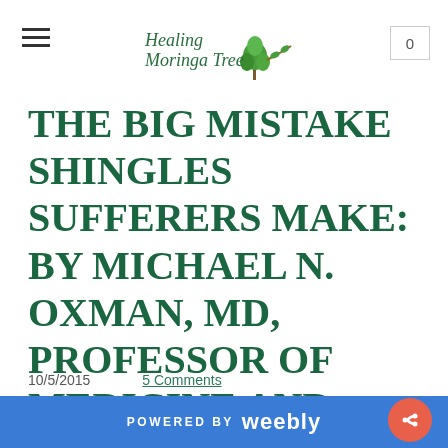Healing Moringa Tree
THE BIG MISTAKE SHINGLES SUFFERERS MAKE: BY MICHAEL N. OXMAN, MD, PROFESSOR OF MEDICINE AND PATHOLOGY.
10/5/2015
5 Comments
[Figure (photo): Close-up photo of skin with shingles rash]
POWERED BY weebly